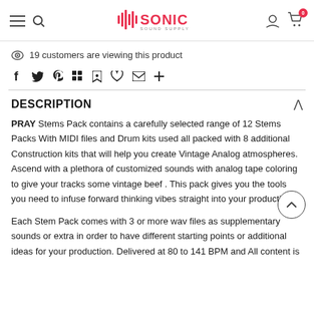Sonic Sound Supply - header with logo, hamburger menu, search, user account, and cart (0 items)
19 customers are viewing this product
Social share icons: Facebook, Twitter, Pinterest, Grid, Bookmark, Heart, Email, Plus
DESCRIPTION
PRAY Stems Pack contains a carefully selected range of 12 Stems Packs With MIDI files and Drum kits used all packed with 8 additional Construction kits that will help you create Vintage Analog atmospheres. Ascend with a plethora of customized sounds with analog tape coloring to give your tracks some vintage beef . This pack gives you the tools you need to infuse forward thinking vibes straight into your productions.

Each Stem Pack comes with 3 or more wav files as supplementary sounds or extra in order to have different starting points or additional ideas for your production. Delivered at 80 to 141 BPM and All content is